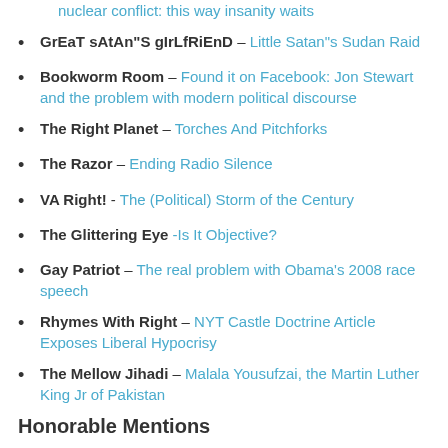nuclear conflict: this way insanity waits
GrEaT sAtAn"S gIrLfRiEnD – Little Satan"s Sudan Raid
Bookworm Room – Found it on Facebook: Jon Stewart and the problem with modern political discourse
The Right Planet – Torches And Pitchforks
The Razor – Ending Radio Silence
VA Right! - The (Political) Storm of the Century
The Glittering Eye -Is It Objective?
Gay Patriot – The real problem with Obama's 2008 race speech
Rhymes With Right – NYT Castle Doctrine Article Exposes Liberal Hypocrisy
The Mellow Jihadi – Malala Yousufzai, the Martin Luther King Jr of Pakistan
Honorable Mentions
Ask Marion – Benghazi Alert: How Can